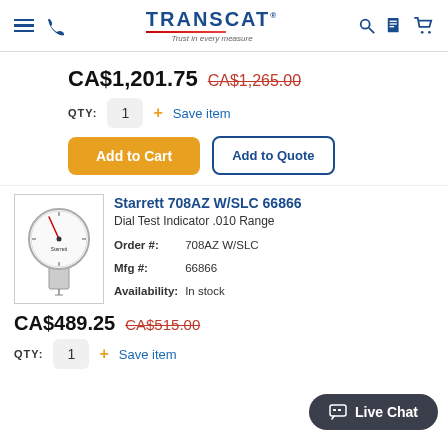TRANSCAT — Trust in every measure (navigation bar with menu, phone, search, documents, cart icons)
CA$1,201.75  CA$1,265.00 (strikethrough)
QTY: 1  + Save item
Add to Cart | Add to Quote
Starrett 708AZ W/SLC 66866
Dial Test Indicator .010 Range
| Field | Value |
| --- | --- |
| Order #: | 708AZ W/SLC |
| Mfg #: | 66866 |
| Availability: | In stock |
CA$489.25  CA$515.00 (strikethrough)
QTY: 1  + Save item
Live Chat